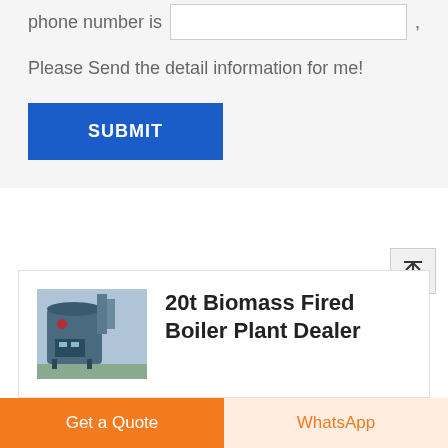phone number is
Please Send the detail information for me!
SUBMIT
[Figure (illustration): Scroll to top button with upward arrow icon]
[Figure (photo): Photo of a 20t biomass fired boiler plant, industrial machinery in blue/grey tones]
20t Biomass Fired Boiler Plant Dealer
Get a Quote
WhatsApp